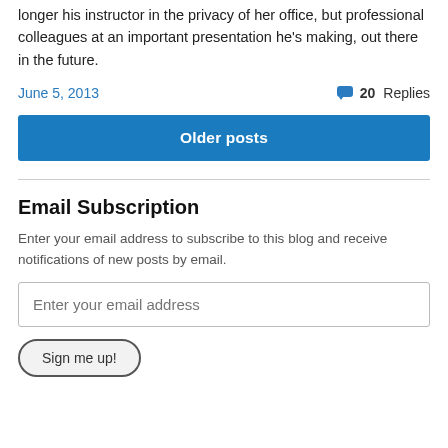longer his instructor in the privacy of her office, but professional colleagues at an important presentation he's making, out there in the future.
June 5, 2013 · 20 Replies
Older posts
Email Subscription
Enter your email address to subscribe to this blog and receive notifications of new posts by email.
Enter your email address
Sign me up!